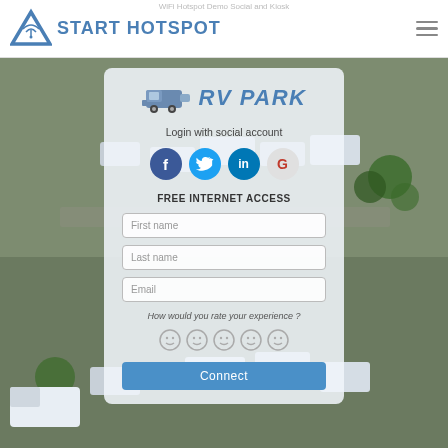WiFi Hotspot Demo Social and Kiosk
[Figure (logo): Start Hotspot logo with triangle WiFi signal icon and text START HOTSPOT in blue]
[Figure (photo): Aerial view of RV park with multiple RVs, trailers, trees and parking areas]
[Figure (screenshot): RV Park WiFi login card with social login buttons (Facebook, Twitter, LinkedIn, Google), form fields for First name, Last name, Email, experience rating with emoji faces, and a Connect button]
Login with social account
FREE INTERNET ACCESS
First name
Last name
Email
How would you rate your experience ?
Connect